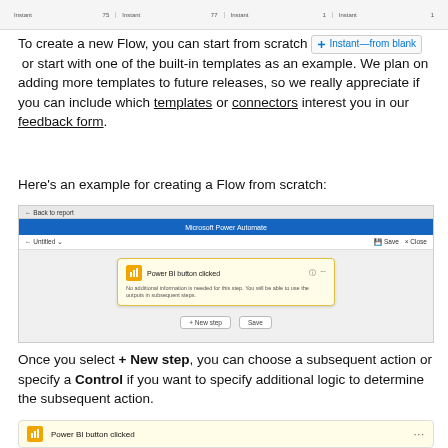[Figure (screenshot): Top strip showing four 'Instant' items with numbers 75, 77, 1, 1]
To create a new Flow, you can start from scratch  + Instant—from blank  or start with one of the built-in templates as an example. We plan on adding more templates to future releases, so we really appreciate if you can include which templates or connectors interest you in our feedback form.
Here's an example for creating a Flow from scratch:
[Figure (screenshot): Microsoft Power Automate interface showing a flow editor with 'Power BI button clicked' trigger card, Save and Close buttons, and + New step / Save buttons]
Once you select + New step, you can choose a subsequent action or specify a Control if you want to specify additional logic to determine the subsequent action.
[Figure (screenshot): Bottom portion showing Power BI button clicked card with yellow icon]